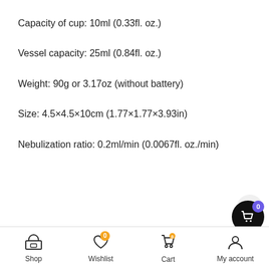Capacity of cup: 10ml (0.33fl. oz.)
Vessel capacity: 25ml (0.84fl. oz.)
Weight: 90g or 3.17oz (without battery)
Size: 4.5×4.5×10cm (1.77×1.77×3.93in)
Nebulization ratio: 0.2ml/min (0.0067fl. oz./min)
Shop | Wishlist | Cart | My account